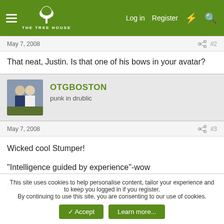THE TREE HOUSE — Log in | Register
May 7, 2008   #2
That neat, Justin. Is that one of his bows in your avatar?
OTGBOSTON — punk in drublic
May 7, 2008   #3
Wicked cool Stumper!

"Intelligence guided by experience"-wow

Is that a Husky I see in the backround?
This site uses cookies to help personalise content, tailor your experience and to keep you logged in if you register.
By continuing to use this site, you are consenting to our use of cookies.